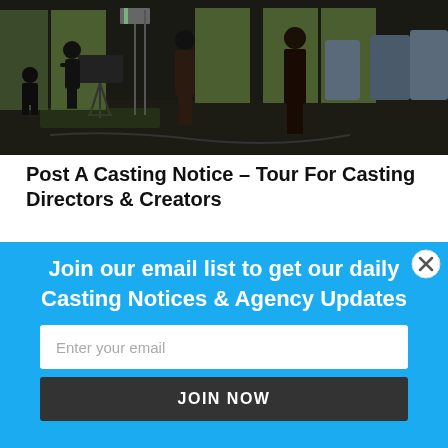[Figure (photo): Behind-the-scenes film set with silhouettes of crew operating camera equipment, with green screen and studio chairs visible in background.]
Post A Casting Notice – Tour For Casting Directors & Creators
For the last 21 years, DirectSubmit / NYCastings has been a
Join our email list to get our daily Casting Notices & Agency Updates
Enter your email
JOIN NOW